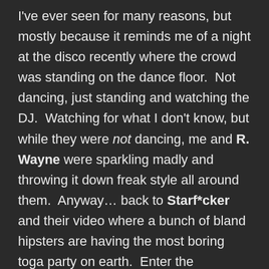I've ever seen for many reasons, but mostly because it reminds me of a night at the disco recently where the crowd was standing on the dance floor.  Not dancing, just standing and watching the DJ.  Watching for what I don't know, but while they were not dancing, me and R. Wayne were sparkling madly and throwing it down freak style all around them.  Anyway… back to Starf*cker and their video where a bunch of bland hipsters are having the most boring toga party on earth.  Enter the mysterious stranger in a bedazzled spandex outfit who comes in and proceeds to strip, fondle and lipstick tattoo each and every one of them and you know what?